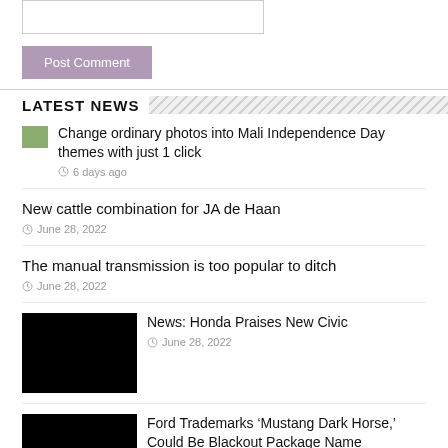Website [input field]
Post Comment [button]
LATEST NEWS
Change ordinary photos into Mali Independence Day themes with just 1 click | 6 days ago
New cattle combination for JA de Haan | June 28, 2022
The manual transmission is too popular to ditch | June 28, 2022
News: Honda Praises New Civic | June 28, 2022
Ford Trademarks ‘Mustang Dark Horse,’ Could Be Blackout Package Name